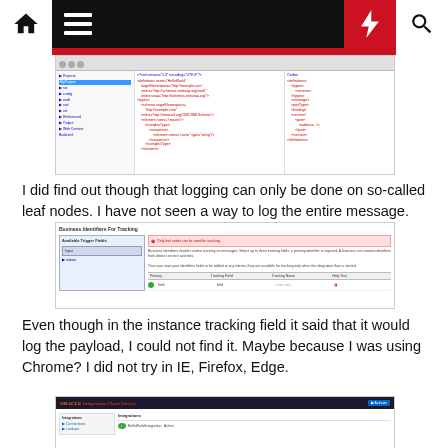[Figure (screenshot): Screenshot of an IDE or XML editor showing code with red/pink colored XML text in multiple panes]
I did find out though that logging can only be done on so-called leaf nodes. I have not seen a way to log the entire message.
[Figure (screenshot): Screenshot of 'Business Identifiers For Tracking' dialog showing a warning that only leaf nodes can be used for tracking, with a table of tracking fields]
Even though in the instance tracking field it said that it would log the payload, I could not find it. Maybe because I was using Chrome? I did not try in IE, Firefox, Edge.
[Figure (screenshot): Screenshot of Oracle Integration Cloud Service interface showing navigation and content area]